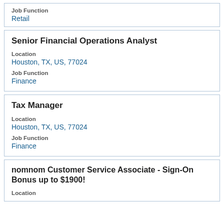Job Function
Retail
Senior Financial Operations Analyst
Location
Houston, TX, US, 77024
Job Function
Finance
Tax Manager
Location
Houston, TX, US, 77024
Job Function
Finance
nomnom Customer Service Associate - Sign-On Bonus up to $1900!
Location